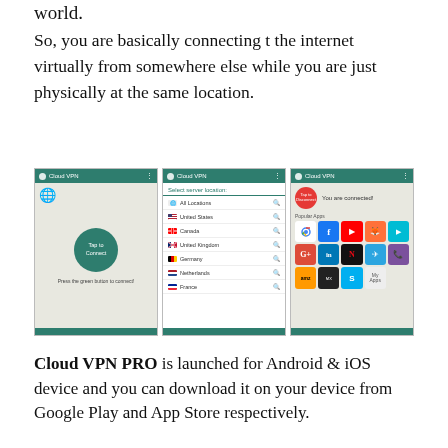world.
So, you are basically connecting t the internet virtually from somewhere else while you are just physically at the same location.
[Figure (screenshot): Three screenshots of Cloud VPN mobile app: (1) main screen with 'Tap to Connect' green button and 'Press the green button to connect!' text; (2) server location selection screen listing All Locations, United States, Canada, United Kingdom, Germany, Netherlands, France; (3) connected screen showing 'You are connected!' with popular apps grid including Chrome, Facebook, YouTube, Firefox, Play Store, Google+, LinkedIn, Netflix, Telegram, Viber, Amazon, MX Player, Skype, My Apps.]
Cloud VPN PRO is launched for Android & iOS device and you can download it on your device from Google Play and App Store respectively.